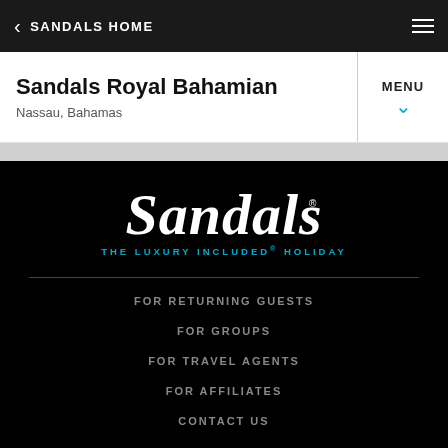SANDALS HOME
Sandals Royal Bahamian
Nassau, Bahamas
MENU
[Figure (logo): Sandals script logo with tagline THE LUXURY INCLUDED® HOLIDAY in cyan]
FOR RETURNING GUESTS
FOR GROUPS
FOR TRAVEL AGENTS
FOR AFFILIATES
CONTACT US